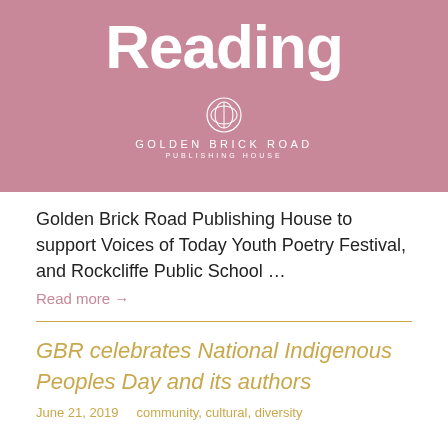[Figure (logo): Pink/mauve banner with large white bold text 'Reading' and Golden Brick Road Publishing House logo (circle icon) centered below]
Golden Brick Road Publishing House to support Voices of Today Youth Poetry Festival, and Rockcliffe Public School …
Read more →
GBR celebrates National Indigenous Peoples Day and its authors
June 21, 2019    community, cultural, diversity